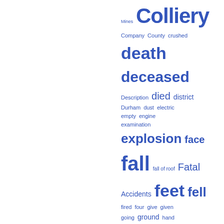[Figure (other): Word cloud of mining/colliery related terms in blue, varying font sizes indicating frequency. Words include: Mines, Colliery, Company, County, crushed, death, deceased, Description, died, district, Durham, dust, electric, empty, engine, examination, explosion, face, fall, fall of roof, Fatal Accidents, feet, fell, fired, four, give, given, going, ground, hand, haulage, head, Hewer, hole, inches, incline, increase, injured, inquest, inside, Inspection, Inspectors, Iron, John]